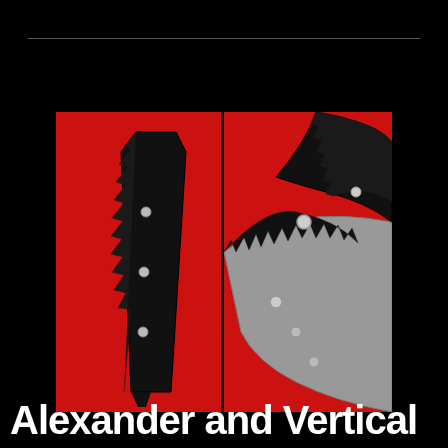[Figure (photo): Two close-up photos of saw blades against a red background. Left photo shows a serrated black triangular blade with rivets. Right photo shows circular saw blade segments with teeth and rivets on a red disc.]
Alexander and Vertical